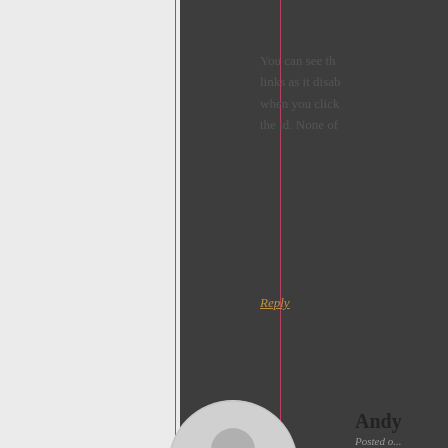You can see th... links as it disab... when you click... the id. None of...
Reply
[Figure (illustration): Gray circular avatar/user icon placeholder]
Andy
Posted o...
Theank...
it is exac... tought th... your plu... have to ... menu as...
GREAT...
Regards...